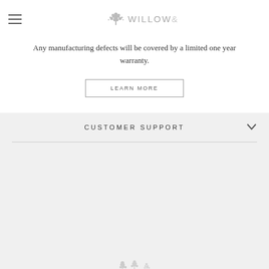WILLOW & ZAC
Any manufacturing defects will be covered by a limited one year warranty.
LEARN MORE
CUSTOMER SUPPORT